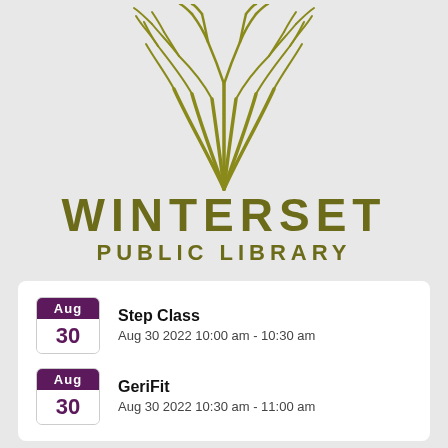[Figure (logo): Winterset Public Library logo: stylized olive/gold tree with multiple trunks and branches above the library name text]
WINTERSET PUBLIC LIBRARY
Step Class — Aug 30 2022 10:00 am - 10:30 am
GeriFit — Aug 30 2022 10:30 am - 11:00 am